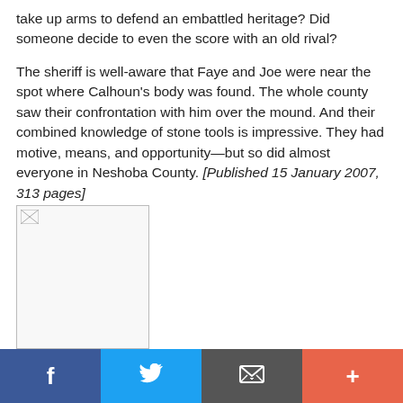take up arms to defend an embattled heritage? Did someone decide to even the score with an old rival?
The sheriff is well-aware that Faye and Joe were near the spot where Calhoun's body was found. The whole county saw their confrontation with him over the mound. And their combined knowledge of stone tools is impressive. They had motive, means, and opportunity—but so did almost everyone in Neshoba County. [Published 15 January 2007, 313 pages]
[Figure (photo): Broken/missing image placeholder (book cover or related image)]
f  [Twitter bird icon]  [Email icon]  +